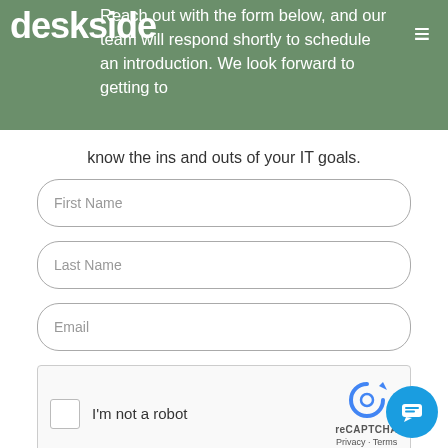deskside — Reach out with the form below, and our team will respond shortly to schedule an introduction. We look forward to getting to know the ins and outs of your IT goals.
know the ins and outs of your IT goals.
First Name
Last Name
Email
[Figure (other): reCAPTCHA widget with checkbox labeled I'm not a robot]
Phone
We're offline
Leave a message
Company Name